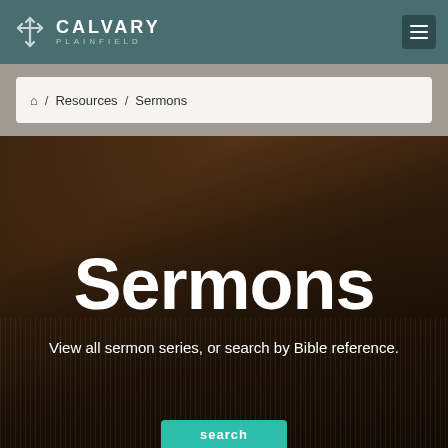Calvary Plainfield
Home / Resources / Sermons
Sermons
View all sermon series, or search by Bible reference.
search